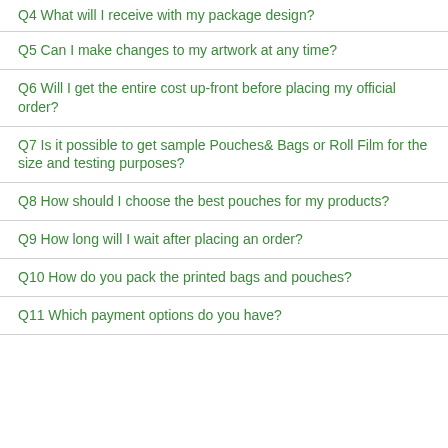Q4 What will I receive with my package design?
Q5 Can I make changes to my artwork at any time?
Q6 Will I get the entire cost up-front before placing my official order?
Q7 Is it possible to get sample Pouches& Bags or Roll Film for the size and testing purposes?
Q8 How should I choose the best pouches for my products?
Q9 How long will I wait after placing an order?
Q10 How do you pack the printed bags and pouches?
Q11 Which payment options do you have?